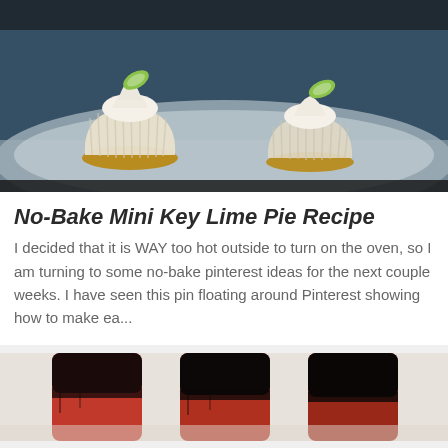[Figure (photo): Mini no-bake key lime pies with whipped cream topping and lime slices on a white plate, dark background]
No-Bake Mini Key Lime Pie Recipe
I decided that it is WAY too hot outside to turn on the oven, so I am turning to some no-bake pinterest ideas for the next couple weeks. I have seen this pin floating around Pinterest showing how to make ea...
[Figure (photo): Chocolate-covered strawberry popsicles on a white surface]